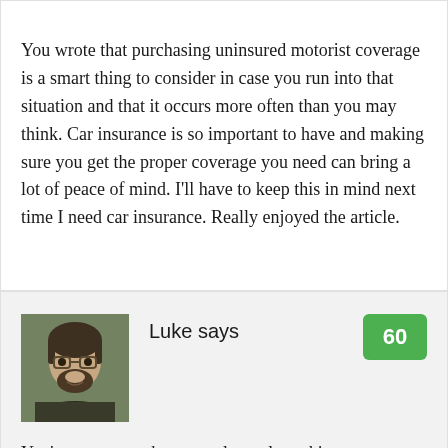You wrote that purchasing uninsured motorist coverage is a smart thing to consider in case you run into that situation and that it occurs more often than you may think. Car insurance is so important to have and making sure you get the proper coverage you need can bring a lot of peace of mind. I'll have to keep this in mind next time I need car insurance. Really enjoyed the article.
[Figure (photo): Avatar photo of commenter Luke — a man with glasses and a beard]
Luke says
You're comment about people rarely making